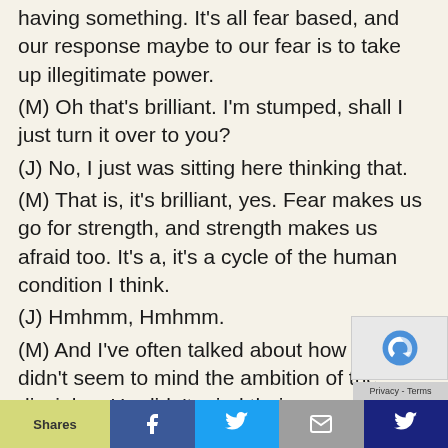having something.  It's all fear based, and our response maybe to our fear is to take up illegitimate power.
(M) Oh that's brilliant. I'm stumped, shall I just turn it over to you?
(J) No, I just was sitting here thinking that.
(M) That is, it's brilliant, yes. Fear makes us go for strength, and strength makes us afraid too. It's a, it's a cycle of the human condition I think.
(J) Hmhmm, Hmhmm.
(M) And I've often talked about how Jesus didn't seem to mind the ambition of the disciples. He didn't mind their presumption. He wasn't impatient with anything they did but one thing, and that fear.
Shares | Facebook | Twitter | Mail | More